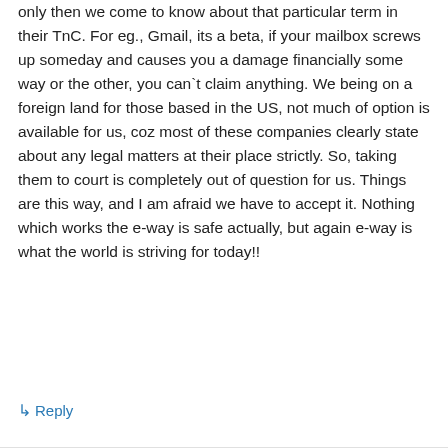only then we come to know about that particular term in their TnC. For eg., Gmail, its a beta, if your mailbox screws up someday and causes you a damage financially some way or the other, you can`t claim anything. We being on a foreign land for those based in the US, not much of option is available for us, coz most of these companies clearly state about any legal matters at their place strictly. So, taking them to court is completely out of question for us. Things are this way, and I am afraid we have to accept it. Nothing which works the e-way is safe actually, but again e-way is what the world is striving for today!!
↳ Reply